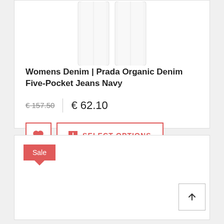[Figure (photo): Partial view of white denim jeans legs, cropped at the top]
Womens Denim | Prada Organic Denim Five-Pocket Jeans Navy
€ 157.50  |  € 62.10
SELECT OPTIONS
[Figure (other): Sale badge (red speech bubble with 'Sale' text) on a new product card]
[Figure (other): Back-to-top arrow button in bottom right corner]